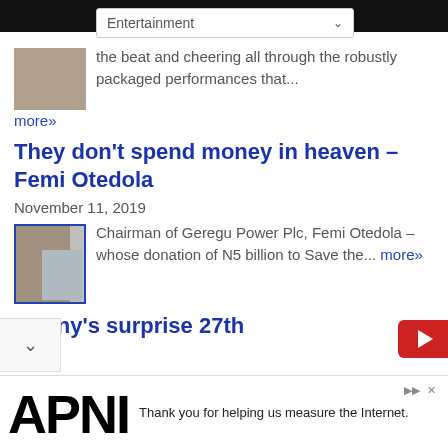Entertainment
the beat and cheering all through the robustly packaged performances that...
more»
They don't spend money in heaven – Femi Otedola
November 11, 2019
Chairman of Geregu Power Plc, Femi Otedola – whose donation of N5 billion to Save the... more»
Cunny's surprise 27th
Thank you for helping us measure the Internet.